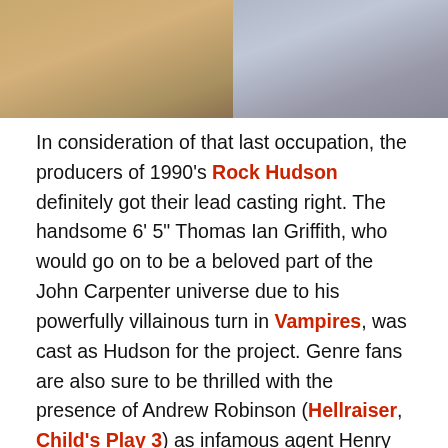[Figure (photo): Two side-by-side photos cropped at top of page, partially visible.]
In consideration of that last occupation, the producers of 1990's Rock Hudson definitely got their lead casting right. The handsome 6' 5" Thomas Ian Griffith, who would go on to be a beloved part of the John Carpenter universe due to his powerfully villainous turn in Vampires, was cast as Hudson for the project. Genre fans are also sure to be thrilled with the presence of Andrew Robinson (Hellraiser, Child's Play 3) as infamous agent Henry Willson and the ever-friendly Thom Mathews (Return of the Living Dead, Friday the 13th: Jason Lives) as Tim Murphy, an amalgamation of Hudson's early career paramours. Of the three, Mathews, in particular, shines with an honest sensitivity and forthrightness.